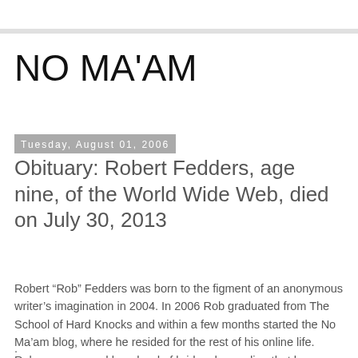NO MA'AM
Tuesday, August 01, 2006
Obituary: Robert Fedders, age nine, of the World Wide Web, died on July 30, 2013
Robert “Rob” Fedders was born to the figment of an anonymous writer’s imagination in 2004. In 2006 Rob graduated from The School of Hard Knocks and within a few months started the No Ma’am blog, where he resided for the rest of his online life.
.
Rob was cornered by a herd of brides demanding that he man-up and oppress one of them with matrimonial bliss, but